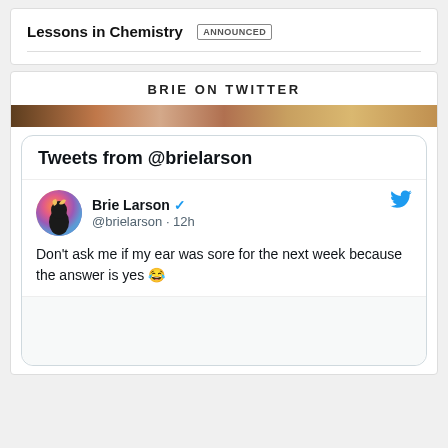Lessons in Chemistry ANNOUNCED
BRIE ON TWITTER
Tweets from @brielarson
Brie Larson @brielarson · 12h
Don't ask me if my ear was sore for the next week because the answer is yes 😂